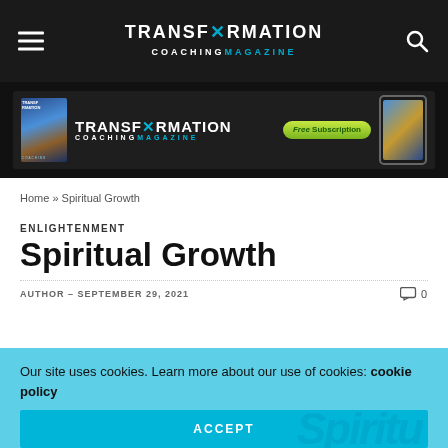TRANSFORMATION COACHING MAGAZINE
[Figure (screenshot): Transformation Coaching Magazine banner advertisement with logo, Free Subscription button, and phone showing magazine cover]
Home » Spiritual Growth
ENLIGHTENMENT
Spiritual Growth
AUTHOR – SEPTEMBER 29, 2021   0
Our site uses cookies. Learn more about our use of cookies: cookie policy
ACCEPT